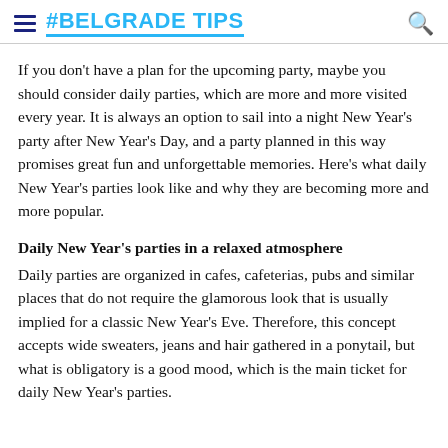#BELGRADE TIPS
If you don't have a plan for the upcoming party, maybe you should consider daily parties, which are more and more visited every year. It is always an option to sail into a night New Year's party after New Year's Day, and a party planned in this way promises great fun and unforgettable memories. Here's what daily New Year's parties look like and why they are becoming more and more popular.
Daily New Year's parties in a relaxed atmosphere
Daily parties are organized in cafes, cafeterias, pubs and similar places that do not require the glamorous look that is usually implied for a classic New Year's Eve. Therefore, this concept accepts wide sweaters, jeans and hair gathered in a ponytail, but what is obligatory is a good mood, which is the main ticket for daily New Year's parties.